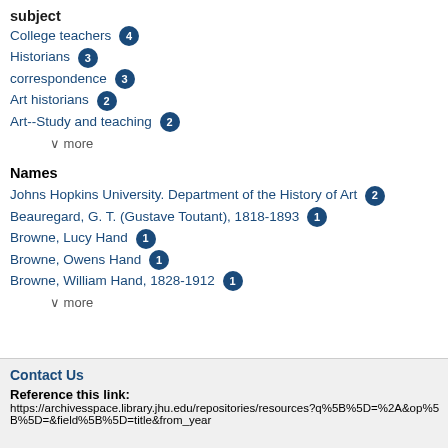subject
College teachers 4
Historians 3
correspondence 3
Art historians 2
Art--Study and teaching 2
∨ more
Names
Johns Hopkins University. Department of the History of Art 2
Beauregard, G. T. (Gustave Toutant), 1818-1893 1
Browne, Lucy Hand 1
Browne, Owens Hand 1
Browne, William Hand, 1828-1912 1
∨ more
Contact Us
Reference this link:
https://archivesspace.library.jhu.edu/repositories/resources?q%5B%5D=%2A&op%5B%5D=&field%5B%5D=title&from_year